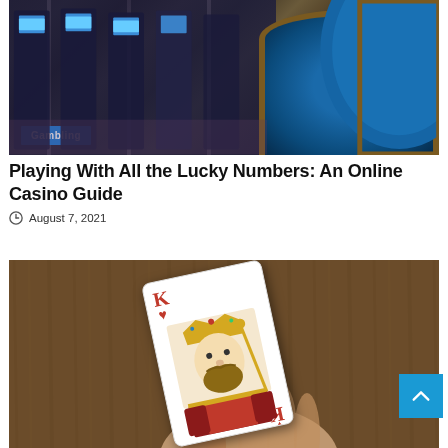[Figure (photo): Casino floor with slot machines on the left and a blue gambling table on the right. A blue 'Gambling' badge overlays the bottom-left of the image.]
Playing With All the Lucky Numbers: An Online Casino Guide
August 7, 2021
[Figure (photo): Close-up of a hand holding a King of Hearts playing card against a brown wooden background.]